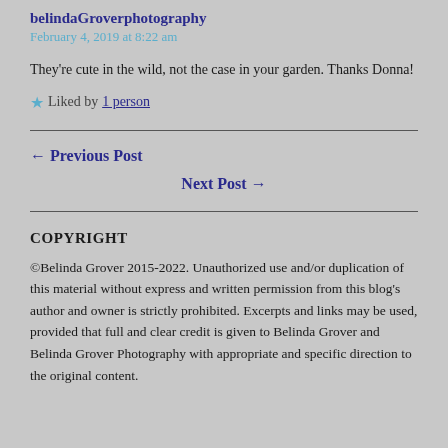belindaGroverphotography
February 4, 2019 at 8:22 am
They're cute in the wild, not the case in your garden. Thanks Donna!
★ Liked by 1 person
← Previous Post
Next Post →
COPYRIGHT
©Belinda Grover 2015-2022. Unauthorized use and/or duplication of this material without express and written permission from this blog's author and owner is strictly prohibited. Excerpts and links may be used, provided that full and clear credit is given to Belinda Grover and Belinda Grover Photography with appropriate and specific direction to the original content.